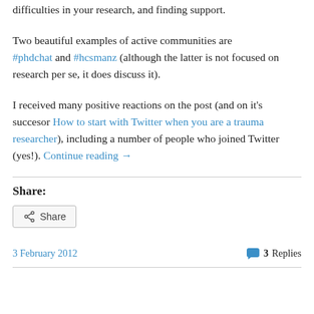difficulties in your research, and finding support.
Two beautiful examples of active communities are #phdchat and #hcsmanz (although the latter is not focused on research per se, it does discuss it).
I received many positive reactions on the post (and on it's succesor How to start with Twitter when you are a trauma researcher), including a number of people who joined Twitter (yes!). Continue reading →
Share:
[Figure (other): Share button with share icon]
3 February 2012    3 Replies